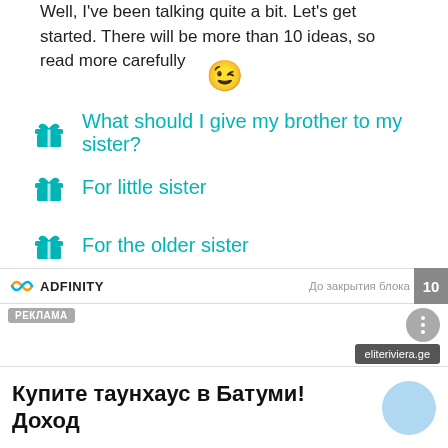Well, I've been talking quite a bit. Let's get started. There will be more than 10 ideas, so read more carefully
😉
What should I give my brother to my sister?
For little sister
For the older sister
[Figure (screenshot): Ad bar with Adfinity logo, countdown text 'До закрытия блока' and number 10]
РЕКЛАМА
eliteriviera.ge
Купите таунхаус в Батуми! Доход